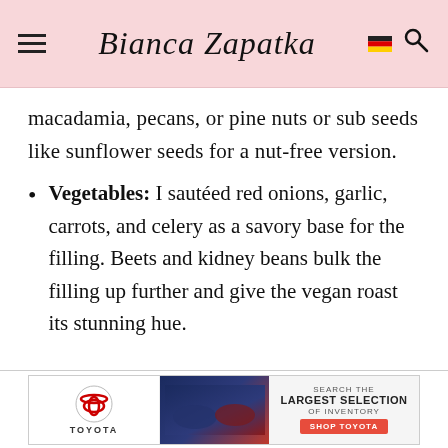Bianca Zapatka
macadamia, pecans, or pine nuts or sub seeds like sunflower seeds for a nut-free version.
Vegetables: I sautéed red onions, garlic, carrots, and celery as a savory base for the filling. Beets and kidney beans bulk the filling up further and give the vegan roast its stunning hue.
[Figure (screenshot): Toyota advertisement banner showing cars and text 'Search the Largest Selection of Inventory']